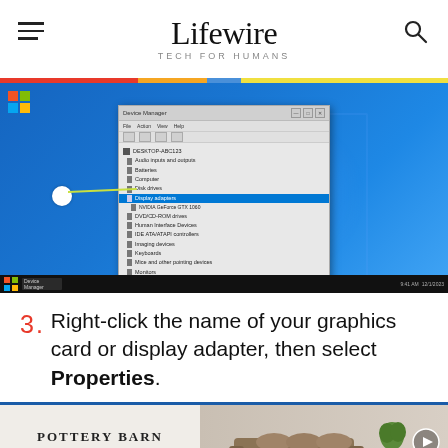Lifewire — TECH FOR HUMANS
[Figure (screenshot): Screenshot of Windows 10 desktop showing Device Manager window open, with a callout circle and arrow pointing to the Display adapters section (graphics card entry highlighted in blue).]
3. Right-click the name of your graphics card or display adapter, then select Properties.
[Figure (photo): Pottery Barn advertisement showing the Pottery Barn logo and 'SHOP BESTSELLERS' text on the left, and a living room furniture photo on the right with a play button icon.]